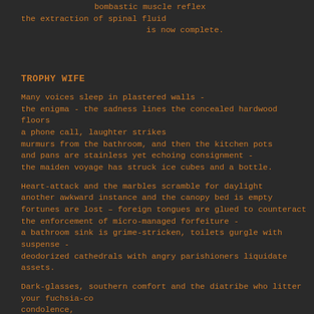bombastic muscle reflex
the extraction of spinal fluid
is now complete.
TROPHY WIFE
Many voices sleep in plastered walls -
the enigma - the sadness lines the concealed hardwood floors
a phone call, laughter strikes
murmurs from the bathroom, and then the kitchen pots
and pans are stainless yet echoing consignment -
the maiden voyage has struck ice cubes and a bottle.
Heart-attack and the marbles scramble for daylight
another awkward instance and the canopy bed is empty
fortunes are lost – foreign tongues are glued to counteract
the enforcement of micro-managed forfeiture -
a bathroom sink is grime-stricken, toilets gurgle with suspense -
deodorized cathedrals with angry parishioners liquidate assets.
Dark-glasses, southern comfort and the diatribe who litter your fuchsia-co condolence,
soliciting parades of comedic mourners who isolate the community camp pending
full moon as it's willingness to absorb your pain is neutralized -
a gravestone will honour his lackluster existence silently.